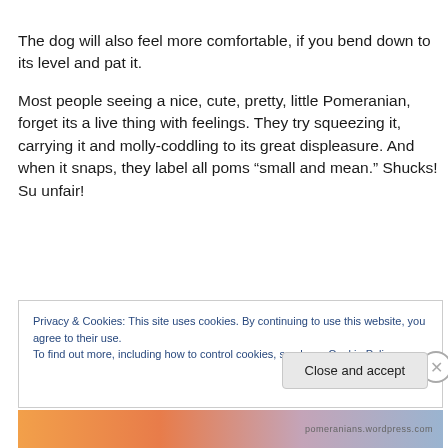The dog will also feel more comfortable, if you bend down to its level and pat it.
Most people seeing a nice, cute, pretty, little Pomeranian, forget its a live thing with feelings. They try squeezing it, carrying it and molly-coddling to its great displeasure. And when it snaps, they label all poms “small and mean.” Shucks! Su unfair!
Privacy & Cookies: This site uses cookies. By continuing to use this website, you agree to their use.
To find out more, including how to control cookies, see here: Cookie Policy
Close and accept